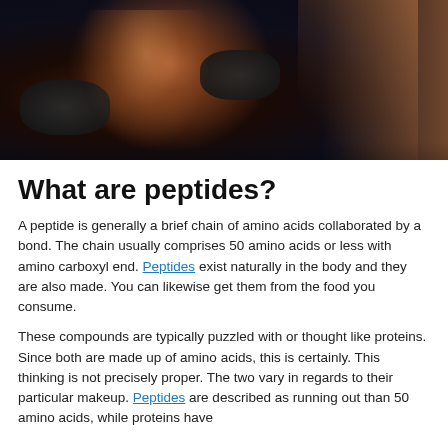[Figure (photo): Two athletes in a dark gym setting — a muscular male holding dumbbells on the left and a fit female on the right, photographed against a dark background.]
What are peptides?
A peptide is generally a brief chain of amino acids collaborated by a bond. The chain usually comprises 50 amino acids or less with amino carboxyl end. Peptides exist naturally in the body and they are also made. You can likewise get them from the food you consume.
These compounds are typically puzzled with or thought like proteins. Since both are made up of amino acids, this is certainly. This thinking is not precisely proper. The two vary in regards to their particular makeup. Peptides are described as running out than 50 amino acids, while proteins have